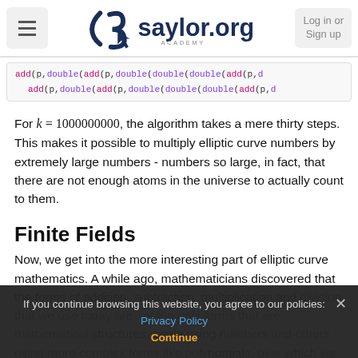saylor.org Academy — Log in or Sign up
add(p,double(add(p,double(double(double(add(p,d
add(p,double(add(p,double(double(double(add(p,d
For k = 1000000000, the algorithm takes a mere thirty steps. This makes it possible to multiply elliptic curve numbers by extremely large numbers - numbers so large, in fact, that there are not enough atoms in the universe to actually count to them.
Finite Fields
Now, we get into the more interesting part of elliptic curve mathematics. A while ago, mathematicians discovered that the forms of addition, subtraction, multiplication and division that we use today are not the only forms that are mathematical structures, some using numbers and others using more complex forms like polynomials, over which we can define
If you continue browsing this website, you agree to our policies: Privacy Policy
Continue